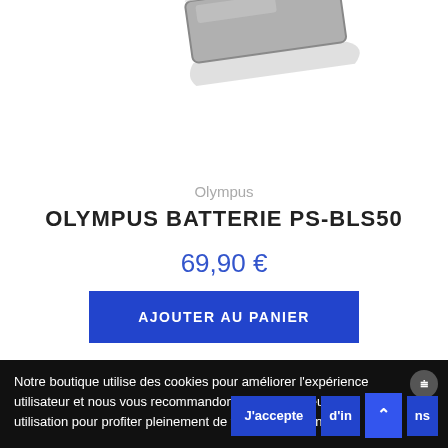[Figure (photo): Partial view of an Olympus PS-BLS50 battery, showing a grey rectangular battery shape from above against a white background, cropped at the top.]
Olympus
OLYMPUS BATTERIE PS-BLS50
69,90 €
AJOUTER AU PANIER
Notre boutique utilise des cookies pour améliorer l'expérience utilisateur et nous vous recommandons d'accepter leur utilisation pour profiter pleinement de votre navigation.
J'accepte
d'in
ns